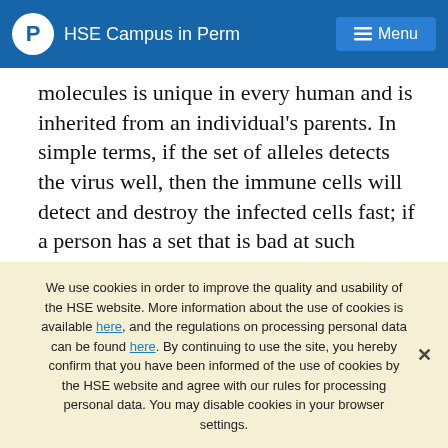HSE Campus in Perm | Menu
molecules is unique in every human and is inherited from an individual's parents. In simple terms, if the set of alleles detects the virus well, then the immune cells will detect and destroy the infected cells fast; if a person has a set that is bad at such detection, a more severe case of disease is more likely to be observed.
Researchers from the HSE Faculty of Biology and Biotechnology–Maxim Shkurnikov, Stepan Nersisyan, Alexei Galatenko and Alexander Tonevitsky–joined their
We use cookies in order to improve the quality and usability of the HSE website. More information about the use of cookies is available here, and the regulations on processing personal data can be found here. By continuing to use the site, you hereby confirm that you have been informed of the use of cookies by the HSE website and agree with our rules for processing personal data. You may disable cookies in your browser settings.